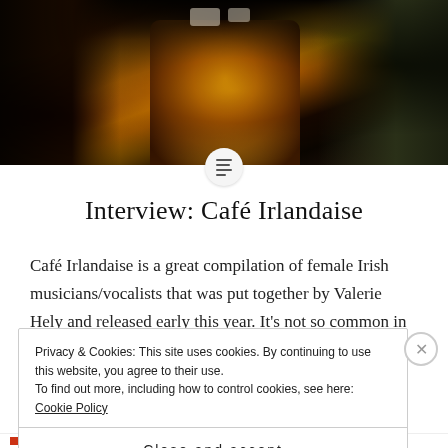[Figure (photo): A photograph showing people sitting, one in a yellow dress, in a dark cafe-like setting with cups on a table in the background.]
Interview: Café Irlandaise
Café Irlandaise is a great compilation of female Irish musicians/vocalists that was put together by Valerie Hely and released early this year. It's not so common in the past
Privacy & Cookies: This site uses cookies. By continuing to use this website, you agree to their use. To find out more, including how to control cookies, see here: Cookie Policy
Close and accept